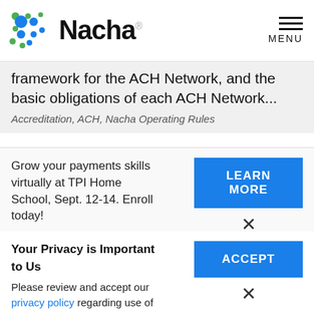[Figure (logo): Nacha logo with colorful dot pattern and wordmark]
framework for the ACH Network, and the basic obligations of each ACH Network...
Accreditation, ACH, Nacha Operating Rules
Grow your payments skills virtually at TPI Home School, Sept. 12-14. Enroll today!
LEARN MORE
Your Privacy is Important to Us
Please review and accept our privacy policy regarding use of cookies and related technologies.
ACCEPT